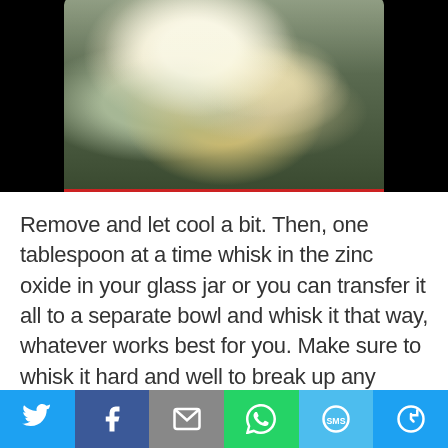[Figure (photo): Close-up photo of a glass jar or bowl containing a white/cream mixture, viewed from above, with a red rim visible at the bottom of the jar. Dark background surrounds the jar.]
Remove and let cool a bit. Then, one tablespoon at a time whisk in the zinc oxide in your glass jar or you can transfer it all to a separate bowl and whisk it that way, whatever works best for you. Make sure to whisk it hard and well to break up any lumps. Then, add your carrot seed and lavender essential oil drops and mix it all in. Essential oils are heat sensitive so make sure
[Figure (infographic): Social media share bar at the bottom with six buttons: Twitter (blue bird icon), Facebook (dark blue f icon), Email (grey envelope icon), WhatsApp (green phone icon), SMS (blue SMS icon), and More (blue circular arrow icon).]